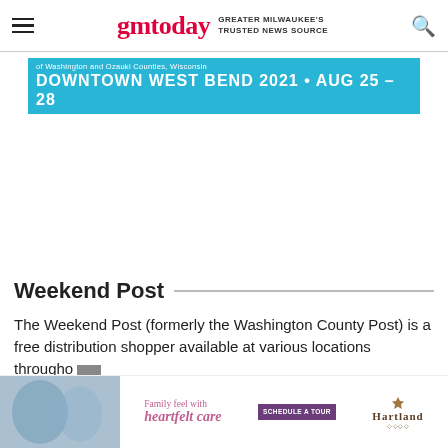gmtoday GREATER MILWAUKEE'S TRUSTED NEWS SOURCE
[Figure (photo): Partial banner ad for Downtown West Bend 2021, Aug 25-28, on a teal/cyan background with white bold text]
Weekend Post
The Weekend Post (formerly the Washington County Post) is a free distribution shopper available at various locations througho
[Figure (photo): Bottom advertisement: person helping elderly woman, with 'Family feel with heartfelt care' text, Schedule a Tour button, and Hartland logo]